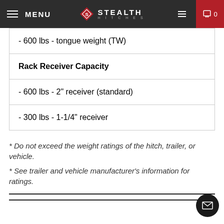MENU | STEALTH HITCHES | 0
| - 600 lbs - tongue weight (TW) |
| Rack Receiver Capacity |
| - 600 lbs - 2" receiver (standard) |
| - 300 lbs - 1-1/4" receiver |
* Do not exceed the weight ratings of the hitch, trailer, or vehicle.
* See trailer and vehicle manufacturer's information for ratings.